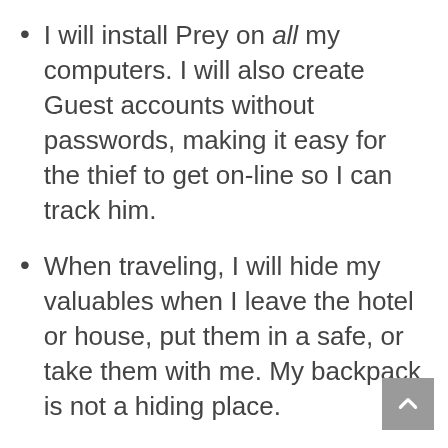I will install Prey on all my computers. I will also create Guest accounts without passwords, making it easy for the thief to get on-line so I can track him.
When traveling, I will hide my valuables when I leave the hotel or house, put them in a safe, or take them with me. My backpack is not a hiding place.
Keep a record of all the serial numbers of my devices to make them easier to track.
I'm not going to replace the camera, binoculars, or ipads right away. My iPhone will replace...